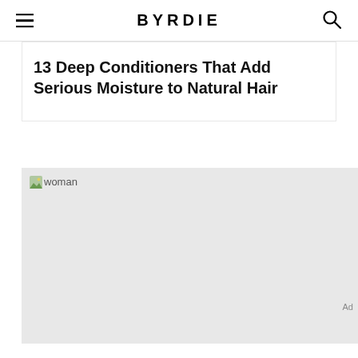BYRDIE
13 Deep Conditioners That Add Serious Moisture to Natural Hair
[Figure (photo): Placeholder image of a woman, shown as a grey box with alt text 'woman']
Ad